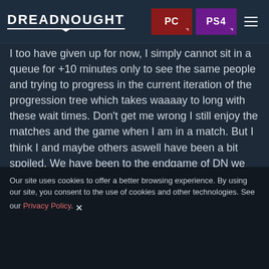DREADNOUGHT | PC | PS4
I too have given up for now, I simply cannot sit in a queue for +10 minutes only to see the same people and trying to progress in the current iteration of the progression tree which takes waaaay to long with these wait times. Don't get me wrong I still enjoy the matches and the game when I am in a match. But I think I and maybe others aswell have been a bit spoiled. We have been to the endgame of DN we have seen most modules and know what works well and is fun to play. So having that huge grind wall put up plus the horrific wait times puts me off, some have managed to get pretty far already but I honestly don't have the patience.
However let it be said that even before progression 2.0 was here. People were already complaining about other matters
Our site uses cookies to offer a better browsing experience. By using our site, you consent to the use of cookies and other technologies. See our Privacy Policy.